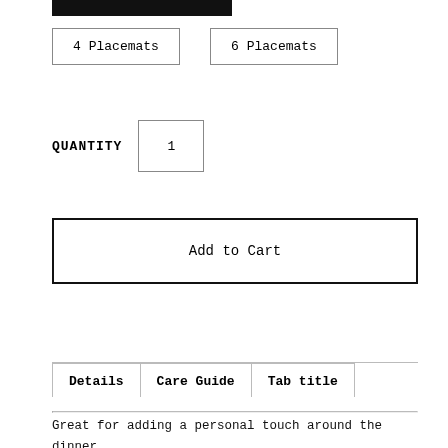[Figure (screenshot): Black filled rectangle (top partial element, cropped at top of page)]
4 Placemats
6 Placemats
QUANTITY   1
Add to Cart
Details   Care Guide   Tab title
Great for adding a personal touch around the dinner table, our placemats are an ideal addition to your